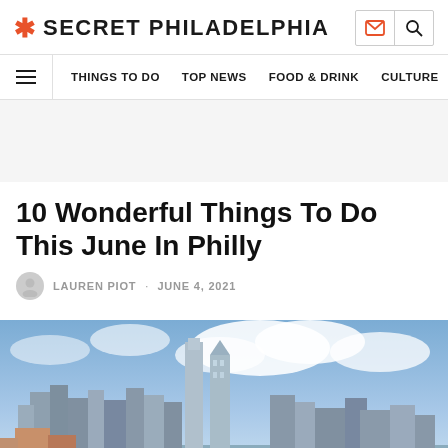* SECRET PHILADELPHIA
THINGS TO DO · TOP NEWS · FOOD & DRINK · CULTURE
10 Wonderful Things To Do This June In Philly
LAUREN PIOT · JUNE 4, 2021
[Figure (photo): Philadelphia city skyline with tall skyscrapers against a blue cloudy sky]